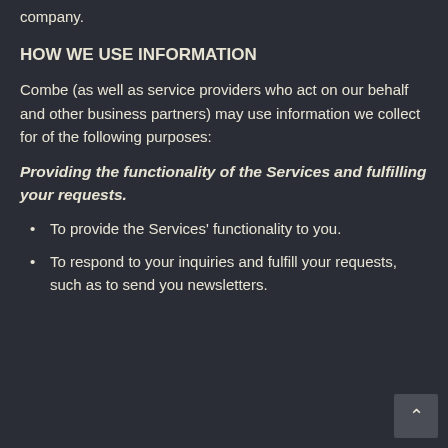company.
HOW WE USE INFORMATION
Combe (as well as service providers who act on our behalf and other business partners) may use information we collect for of the following purposes:
Providing the functionality of the Services and fulfilling your requests.
To provide the Services' functionality to you.
To respond to your inquiries and fulfill your requests, such as to send you newsletters.